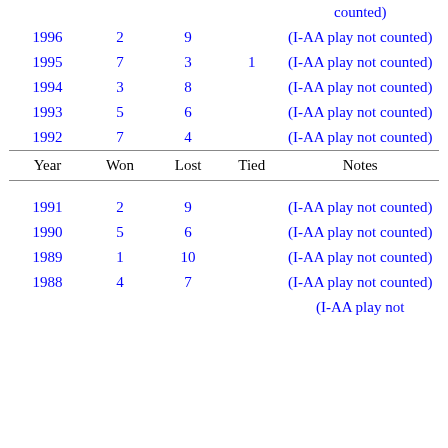| Year | Won | Lost | Tied | Notes |
| --- | --- | --- | --- | --- |
| 1996 | 2 | 9 |  | (I-AA play not counted) |
| 1995 | 7 | 3 | 1 | (I-AA play not counted) |
| 1994 | 3 | 8 |  | (I-AA play not counted) |
| 1993 | 5 | 6 |  | (I-AA play not counted) |
| 1992 | 7 | 4 |  | (I-AA play not counted) |
|  | Year | Won | Lost | Tied | Notes |
| 1991 | 2 | 9 |  | (I-AA play not counted) |
| 1990 | 5 | 6 |  | (I-AA play not counted) |
| 1989 | 1 | 10 |  | (I-AA play not counted) |
| 1988 | 4 | 7 |  | (I-AA play not counted) |